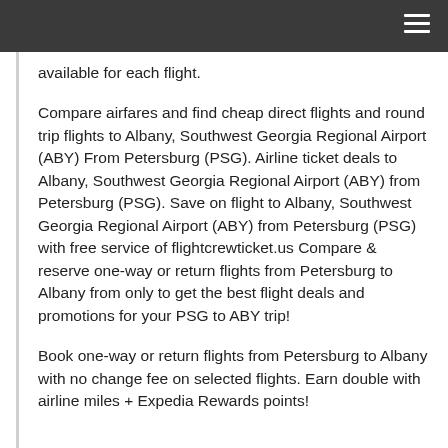≡
available for each flight.
Compare airfares and find cheap direct flights and round trip flights to Albany, Southwest Georgia Regional Airport (ABY) From Petersburg (PSG). Airline ticket deals to Albany, Southwest Georgia Regional Airport (ABY) from Petersburg (PSG). Save on flight to Albany, Southwest Georgia Regional Airport (ABY) from Petersburg (PSG) with free service of flightcrewticket.us Compare & reserve one-way or return flights from Petersburg to Albany from only to get the best flight deals and promotions for your PSG to ABY trip!
Book one-way or return flights from Petersburg to Albany with no change fee on selected flights. Earn double with airline miles + Expedia Rewards points!